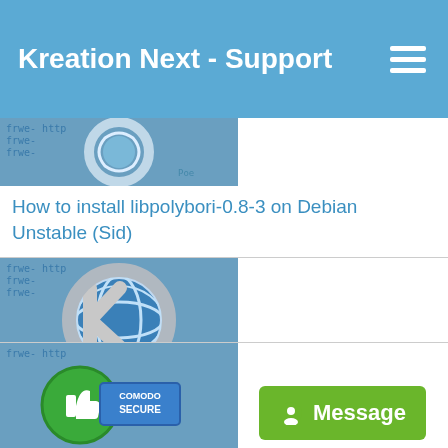Kreation Next - Support
[Figure (screenshot): Kreation Next logo thumbnail - partial crop at top]
How to install libpolybori-0.8-3 on Debian Unstable (Sid)
[Figure (screenshot): Kreation Next logo thumbnail - full image]
How to install spice-client-gtk on Debian Unstable
[Figure (screenshot): Comodo Secure badge thumbnail - partial crop at bottom]
[Figure (screenshot): Message button - green button with alien icon]